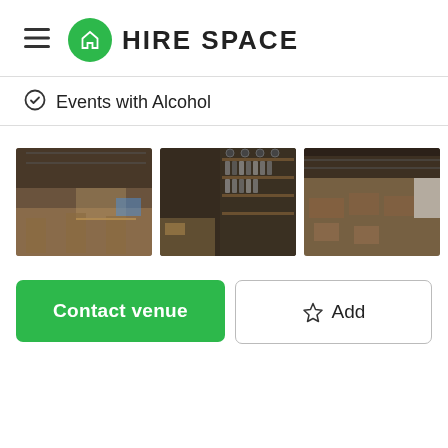HIRE SPACE
Events with Alcohol
[Figure (photo): Three photos of a modern industrial-style event venue interior with dark ceilings, bar areas, and table arrangements]
Contact venue
Add